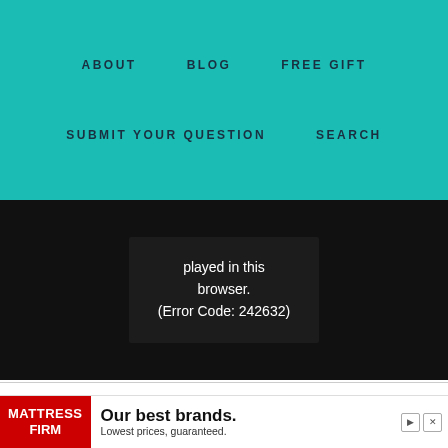ABOUT   BLOG   FREE GIFT   SUBMIT YOUR QUESTION   SEARCH
[Figure (screenshot): Video player showing error message: played in this browser. (Error Code: 242632) on black background]
The first step in laid edges is water. I always spritz my hair lightly with water first. The key is to slightly dampen the hair, but not make it too wet. Rem... shape it dri... ned
[Figure (other): Advertisement for Mattress Firm: Our best brands. Lowest prices, guaranteed.]